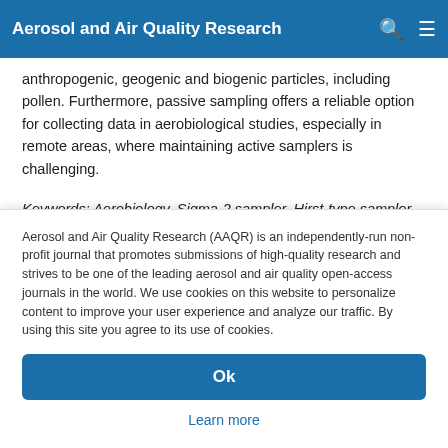Aerosol and Air Quality Research
anthropogenic, geogenic and biogenic particles, including pollen. Furthermore, passive sampling offers a reliable option for collecting data in aerobiological studies, especially in remote areas, where maintaining active samplers is challenging.
Keywords: Aerobiology, Sigma-2 sampler, Hirst-type sampler, Airborne particles, SEM/EDX
Aerosol and Air Quality Research (AAQR) is an independently-run non-profit journal that promotes submissions of high-quality research and strives to be one of the leading aerosol and air quality open-access journals in the world. We use cookies on this website to personalize content to improve your user experience and analyze our traffic. By using this site you agree to its use of cookies.
Ok
Learn more